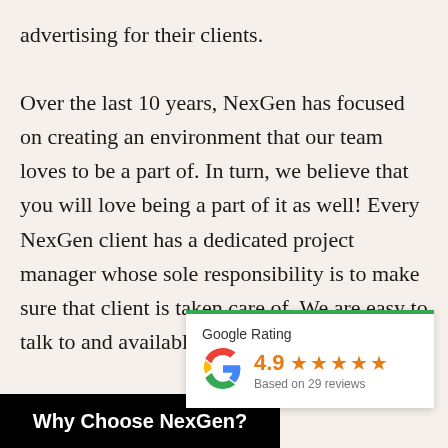advertising for their clients.

Over the last 10 years, NexGen has focused on creating an environment that our team loves to be a part of. In turn, we believe that you will love being a part of it as well! Every NexGen client has a dedicated project manager whose sole responsibility is to make sure that client is taken care of. We are easy to talk to and available whenever you need us!
[Figure (infographic): Google Rating card with green top border, Google 'G' logo, rating of 4.9 with 5 orange stars, and 'Based on 29 reviews' text]
Why Choose NexGen?